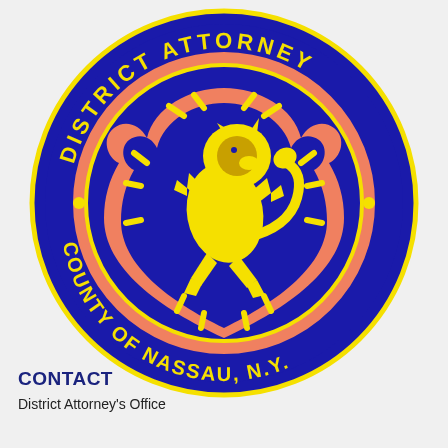[Figure (logo): District Attorney County of Nassau, N.Y. official seal. Blue circular seal with yellow text reading 'DISTRICT ATTORNEY' on top arc and 'COUNTY OF NASSAU, N.Y.' on bottom arc. Center features a yellow heraldic lion rampant on a blue shield-shaped background with orange/salmon accents and dashed yellow lines around the inner circle.]
CONTACT
District Attorney's Office